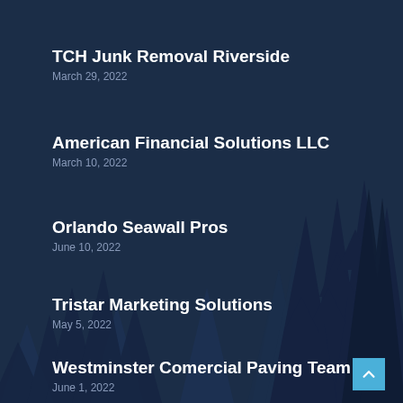TCH Junk Removal Riverside
March 29, 2022
American Financial Solutions LLC
March 10, 2022
Orlando Seawall Pros
June 10, 2022
Tristar Marketing Solutions
May 5, 2022
Westminster Comercial Paving Team
June 1, 2022